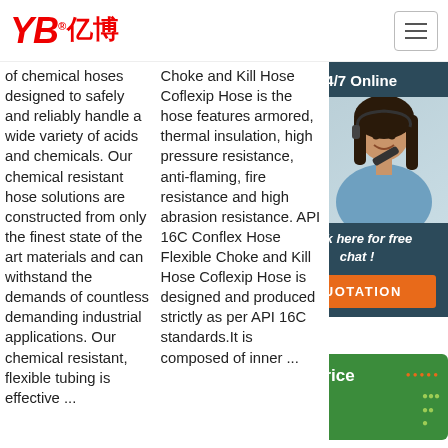YB亿博 logo and navigation
of chemical hoses designed to safely and reliably handle a wide variety of acids and chemicals. Our chemical resistant hose solutions are constructed from only the finest state of the art materials and can withstand the demands of countless demanding industrial applications. Our chemical resistant, flexible tubing is effective ...
Choke and Kill Hose Coflexip Hose is the hose features armored, thermal insulation, high pressure resistance, anti-flaming, fire resistance and high abrasion resistance. API 16C Conflex Hose Flexible Choke and Kill Hose Coflexip Hose is designed and produced strictly as per API 16C standards.It is composed of inner ...
and plastic-lined hoses. Applying the high standards designed to comply with most major bore sizes, including bore, cuff, cover, liner ...
[Figure (screenshot): 24/7 Online chat panel with customer service representative photo and QUOTATION button]
[Figure (screenshot): Get Price button with TOP badge in green and orange]